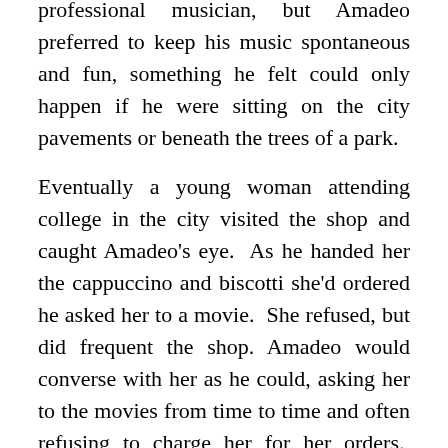professional musician, but Amadeo preferred to keep his music spontaneous and fun, something he felt could only happen if he were sitting on the city pavements or beneath the trees of a park.
Eventually a young woman attending college in the city visited the shop and caught Amadeo's eye. As he handed her the cappuccino and biscotti she'd ordered he asked her to a movie. She refused, but did frequent the shop. Amadeo would converse with her as he could, asking her to the movies from time to time and often refusing to charge her for her orders. Raul didn't mind this, the young woman often brought friends and Amadeo was a hard worker and a good man who more than made up for the cost of one woman's coffee (and Raul wasn't blind, so encouraged Amadeo's attempts to get the lady's